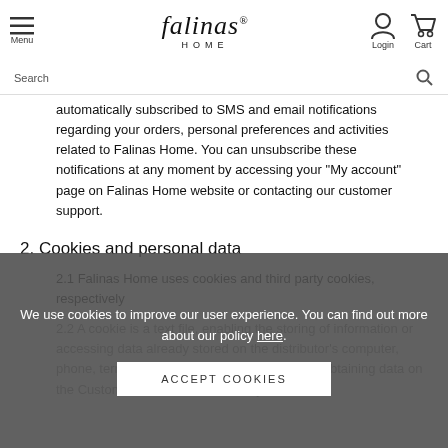Falinas Home — Menu | Login | Cart | Search
automatically subscribed to SMS and email notifications regarding your orders, personal preferences and activities related to Falinas Home. You can unsubscribe these notifications at any moment by accessing your "My account" page on Falinas Home website or contacting our customer support.
2. Cookies and personal data
2.1 Falinas Home uses cookies and third party cookies, respectively
2.2 A cookie is a text file, enabling the storing of information or accessing data already stored on the distributor's computer, phone, terminal equipment, for the purpose of obtaining data on the Customer. Data accumulated by means of
We use cookies to improve our user experience. You can find out more about our policy here.
ACCEPT COOKIES